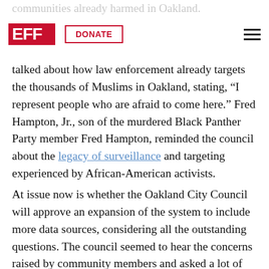EFF | DONATE
communities already harmed in Oakland. Ara Alkhanshali, a community organizer, talked about how law enforcement already targets the thousands of Muslims in Oakland, stating, “I represent people who are afraid to come here.” Fred Hampton, Jr., son of the murdered Black Panther Party member Fred Hampton, reminded the council about the legacy of surveillance and targeting experienced by African-American activists.
At issue now is whether the Oakland City Council will approve an expansion of the system to include more data sources, considering all the outstanding questions. The council seemed to hear the concerns raised by community members and asked a lot of their own questions at the meeting. The council directed staff to provide further information.